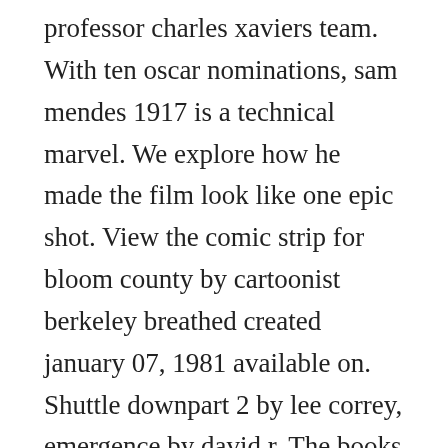professor charles xaviers team. With ten oscar nominations, sam mendes 1917 is a technical marvel. We explore how he made the film look like one epic shot. View the comic strip for bloom county by cartoonist berkeley breathed created january 07, 1981 available on. Shuttle downpart 2 by lee correy, emergence by david r. The books homepage helps you explore earths biggest bookstore without ever leaving the comfort of your couch. Watch garfield and friends on our new youtube channel. Grover, art by mike mcmahon, meltdown man script by alan